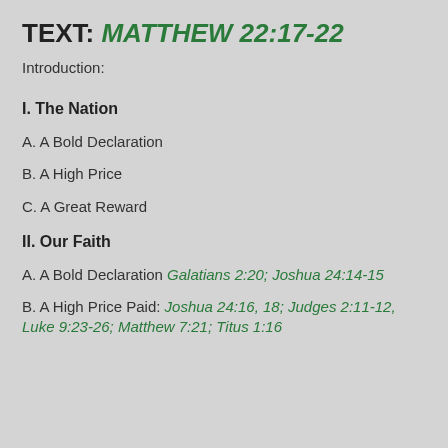TEXT: MATTHEW 22:17-22
Introduction:
I. The Nation
A. A Bold Declaration
B. A High Price
C. A Great Reward
II. Our Faith
A. A Bold Declaration Galatians 2:20; Joshua 24:14-15
B. A High Price Paid: Joshua 24:16, 18; Judges 2:11-12, Luke 9:23-26; Matthew 7:21; Titus 1:16